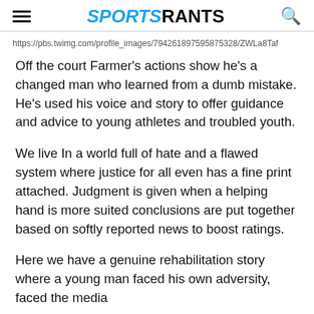SPORTSRANTS
https://pbs.twimg.com/profile_images/794261897595875328/ZWLa8Taf
Off the court Farmer's actions show he's a changed man who learned from a dumb mistake. He's used his voice and story to offer guidance and advice to young athletes and troubled youth.
We live In a world full of hate and a flawed system where justice for all even has a fine print attached. Judgment is given when a helping hand is more suited conclusions are put together based on softly reported news to boost ratings.
Here we have a genuine rehabilitation story where a young man faced his own adversity, faced the media